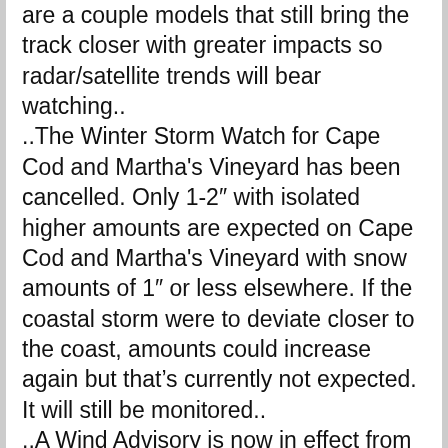are a couple models that still bring the track closer with greater impacts so radar/satellite trends will bear watching.. ..The Winter Storm Watch for Cape Cod and Martha's Vineyard has been cancelled. Only 1-2" with isolated higher amounts are expected on Cape Cod and Martha's Vineyard with snow amounts of 1" or less elsewhere. If the coastal storm were to deviate closer to the coast, amounts could increase again but that's currently not expected. It will still be monitored.. ..A Wind Advisory is now in effect from 10 AM to 8 PM Sunday for Cape Cod and Martha's Vineyard for sustained winds of 20-30 MPH with gusts to 50-55 MPH. A High Wind Watch remain in effect for Nantucket for sustained winds of 30-35 MPH with wind gusts of 55-60 MPH. These winds will have the potential to cause isolated to scattered pockets of tree and wire damage and isolated power outages. Winds may be a bit stronger on Nantucket leading to